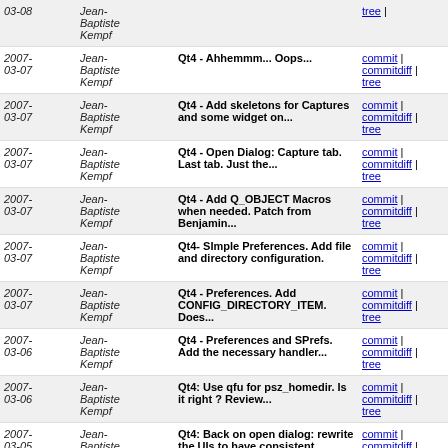| Date | Author | Message | Links |
| --- | --- | --- | --- |
| 2007-03-08 | Jean-Baptiste Kempf |  | commit | commitdiff | tree |
| 2007-03-07 | Jean-Baptiste Kempf | Qt4 - Ahhemmm... Oops... | commit | commitdiff | tree |
| 2007-03-07 | Jean-Baptiste Kempf | Qt4 - Add skeletons for Captures and some widget on... | commit | commitdiff | tree |
| 2007-03-07 | Jean-Baptiste Kempf | Qt4 - Open Dialog: Capture tab. Last tab. Just the... | commit | commitdiff | tree |
| 2007-03-07 | Jean-Baptiste Kempf | Qt4 - Add Q_OBJECT Macros when needed. Patch from Benjamin... | commit | commitdiff | tree |
| 2007-03-07 | Jean-Baptiste Kempf | Qt4- SImple Preferences. Add file and directory configuration. | commit | commitdiff | tree |
| 2007-03-07 | Jean-Baptiste Kempf | Qt4 - Preferences. Add CONFIG_DIRECTORY_ITEM. Does... | commit | commitdiff | tree |
| 2007-03-06 | Jean-Baptiste Kempf | Qt4 - Preferences and SPrefs. Add the necessary handler... | commit | commitdiff | tree |
| 2007-03-06 | Jean-Baptiste Kempf | Qt4: Use qfu for psz_homedir. Is it right ? Review... | commit | commitdiff | tree |
| 2007-03-05 | Jean-Baptiste | Qt4: Back on open dialog: rewrite the UIs to have consistent | commit | commitdiff | tree |